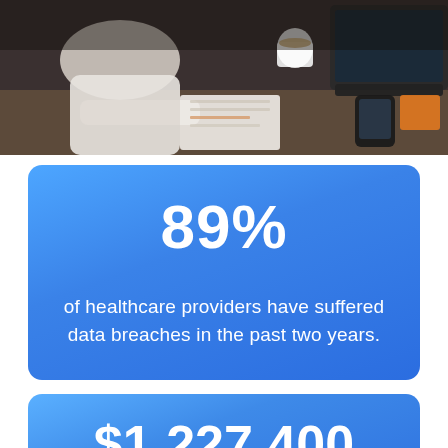[Figure (photo): Photo of a person in a white shirt reviewing documents at a desk with a laptop, coffee cup, and phone visible]
89%
of healthcare providers have suffered data breaches in the past two years.
$1,227,400